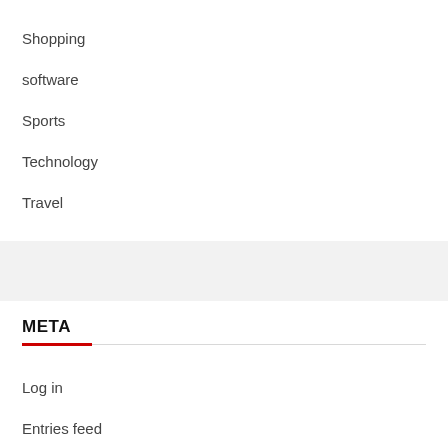Shopping
software
Sports
Technology
Travel
META
Log in
Entries feed
Comments feed
WordPress.org